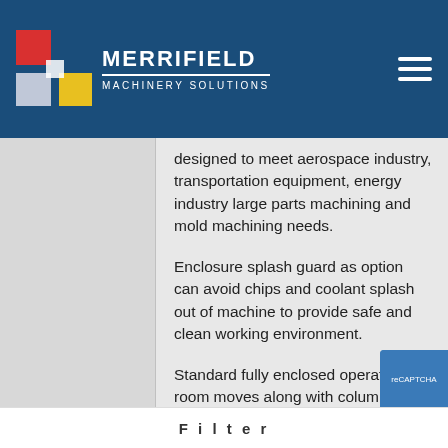[Figure (logo): Merrifield Machinery Solutions logo with colored squares (red, blue, yellow, white) and company name in white on dark blue header bar]
designed to meet aerospace industry, transportation equipment, energy industry large parts machining and mold machining needs.
Enclosure splash guard as option can avoid chips and coolant splash out of machine to provide safe and clean working environment.
Standard fully enclosed operator room moves along with column to protect operator against hazard and the ease of use.
To ensure the machine ultima
Filter